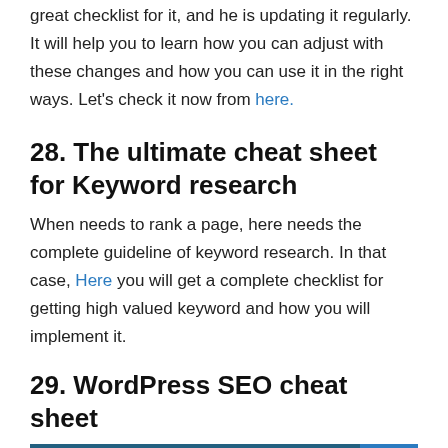great checklist for it, and he is updating it regularly. It will help you to learn how you can adjust with these changes and how you can use it in the right ways. Let's check it now from here.
28. The ultimate cheat sheet for Keyword research
When needs to rank a page, here needs the complete guideline of keyword research. In that case, Here you will get a complete checklist for getting high valued keyword and how you will implement it.
29. WordPress SEO cheat sheet
[Figure (illustration): WordPress logo on a dark teal/blue background with a bright blue square in the top right corner]